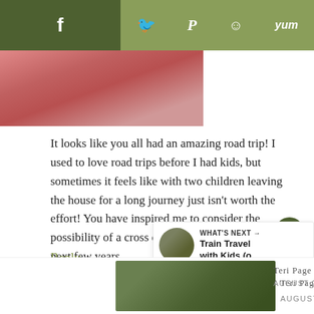[Figure (screenshot): Social share toolbar with dark olive left section showing Facebook icon and lighter olive right section with Twitter, Pinterest, Reddit, and Yummly icons]
[Figure (photo): Partial profile photo showing a person's face and upper body]
It looks like you all had an amazing road trip! I used to love road trips before I had kids, but sometimes it feels like with two children leaving the house for a long journey just isn't worth the effort! You have inspired me to consider the possibility of a cross country adventure in the next few years.
Reply
[Figure (screenshot): What's Next widget showing a thumbnail and title 'Train Travel with Kids (o...']
[Figure (photo): Thumbnail photo of Teri Page in a garden setting]
Teri Page says
AUGUST 20, 2014 AT 9:54 AM